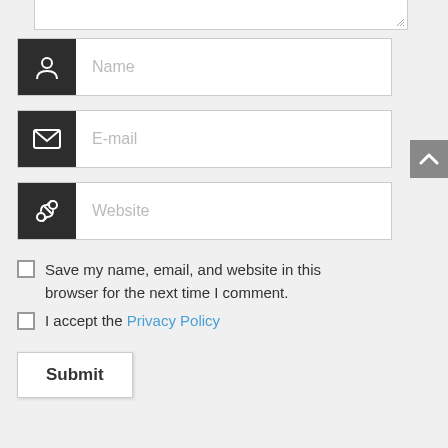[Figure (screenshot): Partial textarea input field at top of form]
Name
E-mail
Website
Save my name, email, and website in this browser for the next time I comment.
I accept the Privacy Policy
Submit